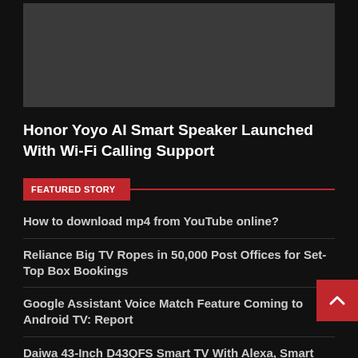[Figure (photo): Dark gray hero image placeholder area at the top of the page]
Honor Yoyo AI Smart Speaker Launched With Wi-Fi Calling Support
FEATURED STORY
How to download mp4 from YouTube online?
Reliance Big TV Ropes in 50,000 Post Offices for Set-Top Box Bookings
Google Assistant Voice Match Feature Coming to Android TV: Report
Daiwa 43-Inch D43QFS Smart TV With Alexa, Smart Controls Launched in India: Price, Specifications